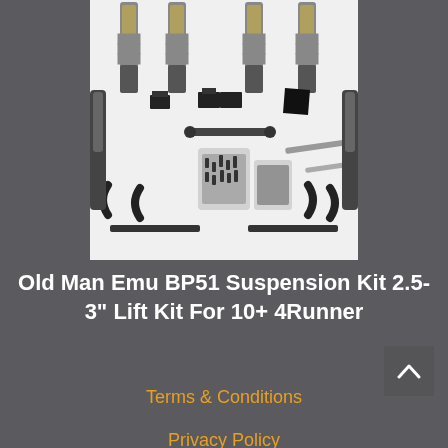[Figure (photo): Overhead layout of Old Man Emu BP51 suspension kit components on white background, including coilover shocks, brackets, hardware bags, and a metal tool/wrench]
Old Man Emu BP51 Suspension Kit 2.5-3" Lift Kit For 10+ 4Runner
Terms & Conditions
Privacy Policy